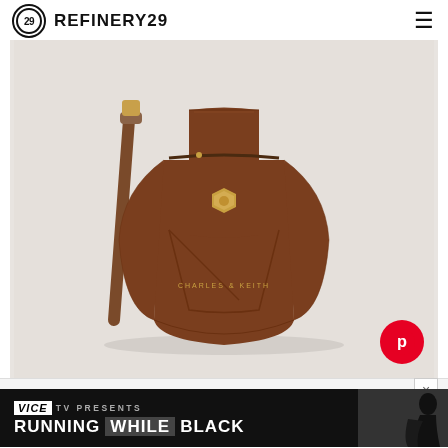REFINERY29
[Figure (photo): Brown leather Charles & Keith tote handbag with gold hardware turn-lock closure and crossbody strap, displayed on light gray background]
[Figure (logo): Pinterest save button (red circle with white P)]
× VICE TV PRESENTS RUNNING WHILE BLACK